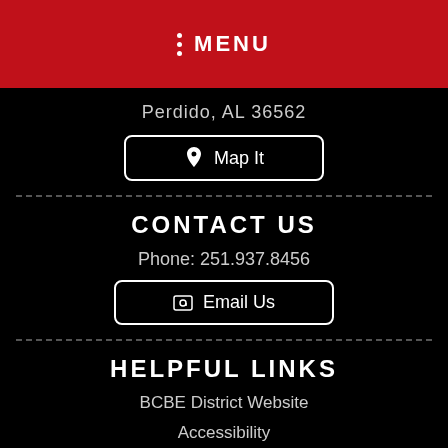MENU
Perdido, AL 36562
Map It
CONTACT US
Phone: 251.937.8456
Email Us
HELPFUL LINKS
BCBE District Website
Accessibility
Our System At A Glance